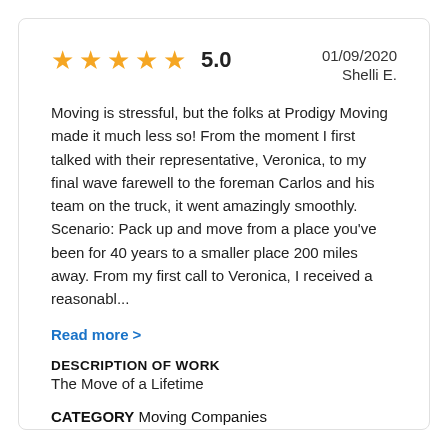[Figure (other): Five gold star rating icons with rating score 5.0]
01/09/2020
Shelli E.
Moving is stressful, but the folks at Prodigy Moving made it much less so! From the moment I first talked with their representative, Veronica, to my final wave farewell to the foreman Carlos and his team on the truck, it went amazingly smoothly. Scenario: Pack up and move from a place you've been for 40 years to a smaller place 200 miles away. From my first call to Veronica, I received a reasonabl...
Read more >
DESCRIPTION OF WORK
The Move of a Lifetime
CATEGORY Moving Companies